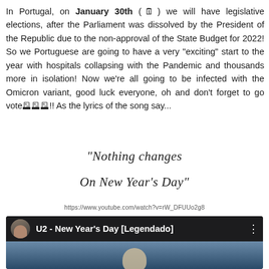In Portugal, on January 30th (🗓) we will have legislative elections, after the Parliament was dissolved by the President of the Republic due to the non-approval of the State Budget for 2022! So we Portuguese are going to have a very "exciting" start to the year with hospitals collapsing with the Pandemic and thousands more in isolation! Now we're all going to be infected with the Omicron variant, good luck everyone, oh and don't forget to go vote🗳🗳🗳!! As the lyrics of the song say...
"Nothing changes

On New Year's Day"
https://www.youtube.com/watch?v=rW_DFUUo2g8
[Figure (screenshot): YouTube video thumbnail and header for 'U2 - New Year's Day [Legendado]' showing a circular avatar of a person, video title in white text on dark background, and a blue-toned image of a person below]